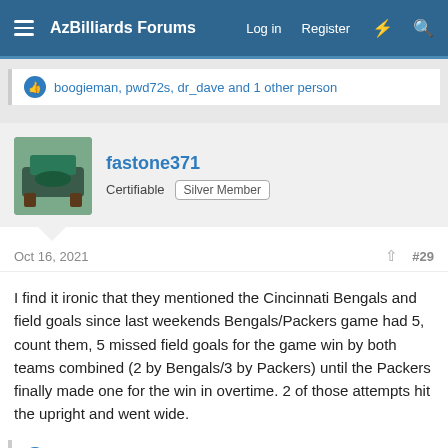AzBilliards Forums   Log in   Register
boogieman, pwd72s, dr_dave and 1 other person
fastone371
Certifiable   Silver Member
Oct 16, 2021   #29
I find it ironic that they mentioned the Cincinnati Bengals and field goals since last weekends Bengals/Packers game had 5, count them, 5 missed field goals for the game win by both teams combined (2 by Bengals/3 by Packers) until the Packers finally made one for the win in overtime. 2 of those attempts hit the upright and went wide.
dr_dave and Fatboy
Fatboy
AzB Silver Member   Silver Member